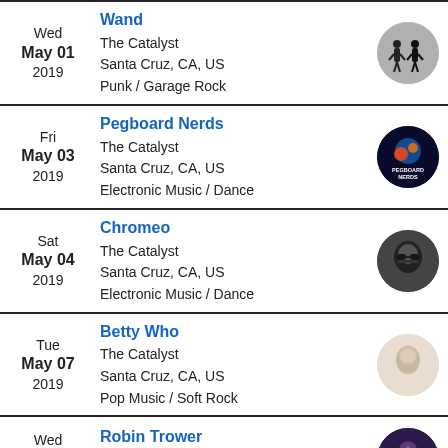Wed May 01 2019 | Wand | The Catalyst | Santa Cruz, CA, US | Punk / Garage Rock
Fri May 03 2019 | Pegboard Nerds | The Catalyst | Santa Cruz, CA, US | Electronic Music / Dance
Sat May 04 2019 | Chromeo | The Catalyst | Santa Cruz, CA, US | Electronic Music / Dance
Tue May 07 2019 | Betty Who | The Catalyst | Santa Cruz, CA, US | Pop Music / Soft Rock
Wed May 08 2019 | Robin Trower | The Catalyst | Santa Cruz, CA, US